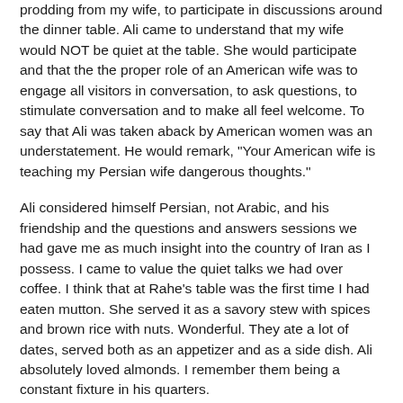prodding from my wife, to participate in discussions around the dinner table. Ali came to understand that my wife would NOT be quiet at the table. She would participate and that the the proper role of an American wife was to engage all visitors in conversation, to ask questions, to stimulate conversation and to make all feel welcome. To say that Ali was taken aback by American women was an understatement. He would remark, "Your American wife is teaching my Persian wife dangerous thoughts."
Ali considered himself Persian, not Arabic, and his friendship and the questions and answers sessions we had gave me as much insight into the country of Iran as I possess. I came to value the quiet talks we had over coffee. I think that at Rahe's table was the first time I had eaten mutton. She served it as a savory stew with spices and brown rice with nuts. Wonderful. They ate a lot of dates, served both as an appetizer and as a side dish. Ali absolutely loved almonds. I remember them being a constant fixture in his quarters.
In late 1978 it was becoming apparent that Iran was undergoing a dramatic political change. I talked with Ali